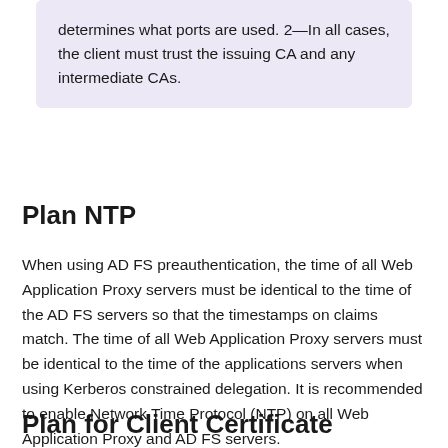determines what ports are used. 2—In all cases, the client must trust the issuing CA and any intermediate CAs.
Plan NTP
When using AD FS preauthentication, the time of all Web Application Proxy servers must be identical to the time of the AD FS servers so that the timestamps on claims match. The time of all Web Application Proxy servers must be identical to the time of the applications servers when using Kerberos constrained delegation. It is recommended to enable Network Time Protocol (NTP) on all Web Application Proxy and AD FS servers.
Plan for Client Certificate